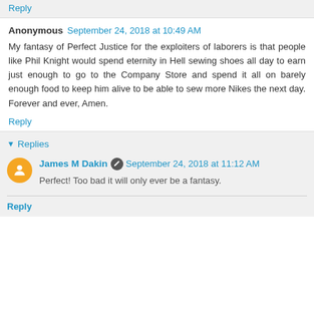Reply
Anonymous  September 24, 2018 at 10:49 AM
My fantasy of Perfect Justice for the exploiters of laborers is that people like Phil Knight would spend eternity in Hell sewing shoes all day to earn just enough to go to the Company Store and spend it all on barely enough food to keep him alive to be able to sew more Nikes the next day. Forever and ever, Amen.
Reply
Replies
James M Dakin  September 24, 2018 at 11:12 AM
Perfect! Too bad it will only ever be a fantasy.
Reply